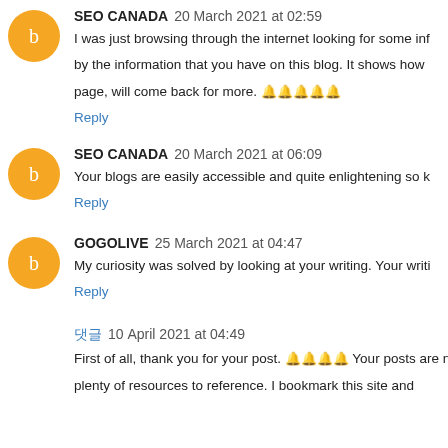SEO CANADA 20 March 2021 at 02:59
I was just browsing through the internet looking for some inf by the information that you have on this blog. It shows how page, will come back for more. 🔔🔔🔔🔔🔔
Reply
SEO CANADA 20 March 2021 at 06:09
Your blogs are easily accessible and quite enlightening so k
Reply
GOGOLIVE 25 March 2021 at 04:47
My curiosity was solved by looking at your writing. Your writi
Reply
댓글 10 April 2021 at 04:49
First of all, thank you for your post. 🔔🔔🔔🔔 Your posts are neat plenty of resources to reference. I bookmark this site and